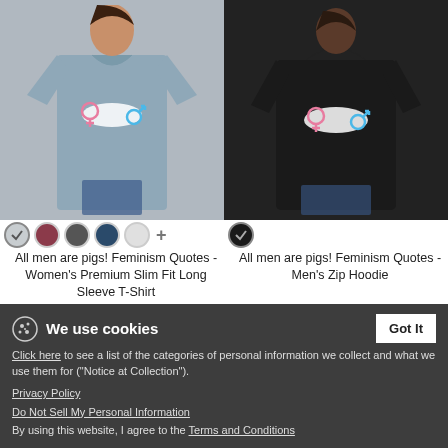[Figure (photo): Woman wearing a light blue/grey long sleeve slim fit t-shirt with a feminism/gender equality graphic on the front]
[Figure (photo): Man wearing a black zip hoodie with a feminism/gender equality graphic on the back]
All men are pigs! Feminism Quotes - Women's Premium Slim Fit Long Sleeve T-Shirt
$28.49
All men are pigs! Feminism Quotes - Men's Zip Hoodie
$42.49
We use cookies
Click here to see a list of the categories of personal information we collect and what we use them for ("Notice at Collection").
Privacy Policy
Do Not Sell My Personal Information
By using this website, I agree to the Terms and Conditions